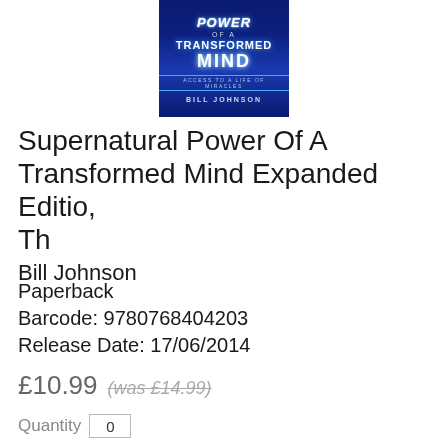[Figure (illustration): Book cover of 'Supernatural Power of a Transformed Mind' by Bill Johnson. Dark blue starry background with glowing title text and author name.]
Supernatural Power Of A Transformed Mind Expanded Editio, Th
Bill Johnson
Paperback
Barcode: 9780768404203
Release Date: 17/06/2014
£10.99  (was £14.99)
Quantity 0